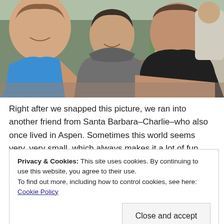[Figure (photo): Selfie photo of three people outdoors: a woman in a blue tank top on the left, a young girl in a gray hoodie in the middle, and a man in a black t-shirt on the right. Green grass and a brick/wood structure visible in background.]
Right after we snapped this picture, we ran into another friend from Santa Barbara–Charlie–who also once lived in Aspen. Sometimes this world seems very, very small, which always makes it a lot of fun.
Privacy & Cookies: This site uses cookies. By continuing to use this website, you agree to their use.
To find out more, including how to control cookies, see here: Cookie Policy
Close and accept